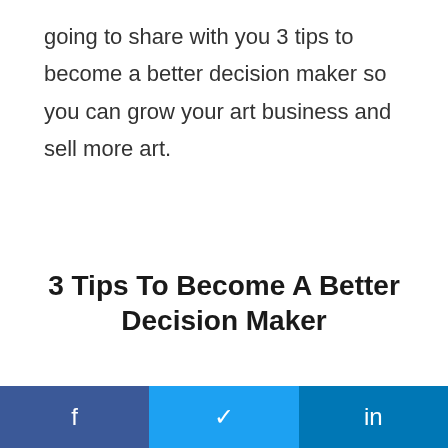going to share with you 3 tips to become a better decision maker so you can grow your art business and sell more art.
3 Tips To Become A Better Decision Maker
[Figure (other): Social sharing bar with Facebook, Twitter, and LinkedIn buttons]